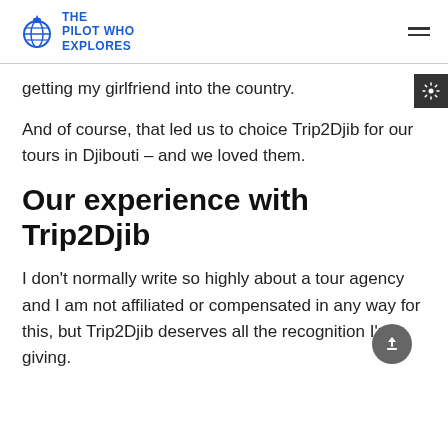THE PILOT WHO EXPLORES
getting my girlfriend into the country.
And of course, that led us to choice Trip2Djib for our tours in Djibouti – and we loved them.
Our experience with Trip2Djib
I don't normally write so highly about a tour agency and I am not affiliated or compensated in any way for this, but Trip2Djib deserves all the recognition I'm giving.